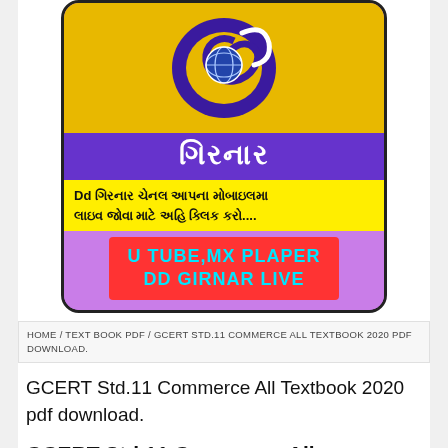[Figure (logo): DD Girnar channel logo card with Gujarati text, yellow strip with Gujarati message, and red box with UTUBE MX PLAPER DD GIRNAR LIVE text in cyan]
HOME / TEXT BOOK PDF / GCERT STD.11 COMMERCE ALL TEXTBOOK 2020 PDF DOWNLOAD.
GCERT Std.11 Commerce All Textbook 2020 pdf download.
GCERT Std.11 Commerce All